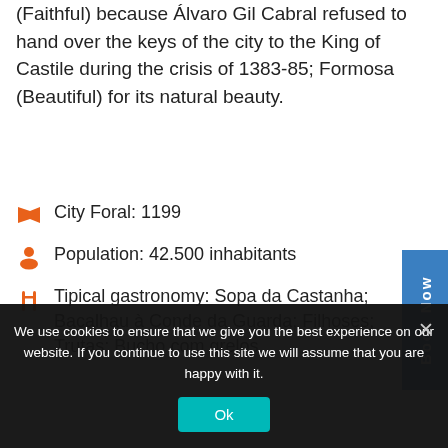(Faithful) because Álvaro Gil Cabral refused to hand over the keys of the city to the King of Castile during the crisis of 1383-85; Formosa (Beautiful) for its natural beauty.
City Foral: 1199
Population: 42.500 inhabitants
Tipical gastronomy: Sopa da Castanha; Bacalhau à Conde da Guarda; Filhoses; Trutas; Bucho com grelos
We use cookies to ensure that we give you the best experience on our website. If you continue to use this site we will assume that you are happy with it.